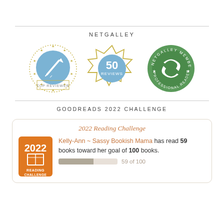NETGALLEY
[Figure (illustration): Three NetGalley badges: Top Reviewer badge (blue pen in circle with gold stars), 50 Reviews badge (gold geometric star outline with blue center), and NetGalley Member Professional Reader badge (green circular badge with arrows)]
GOODREADS 2022 CHALLENGE
[Figure (infographic): Goodreads 2022 Reading Challenge card. Shows 2022 Reading Challenge orange badge on the left. Text: Kelly-Ann ~ Sassy Bookish Mama has read 59 books toward her goal of 100 books. Progress bar showing 59 of 100.]